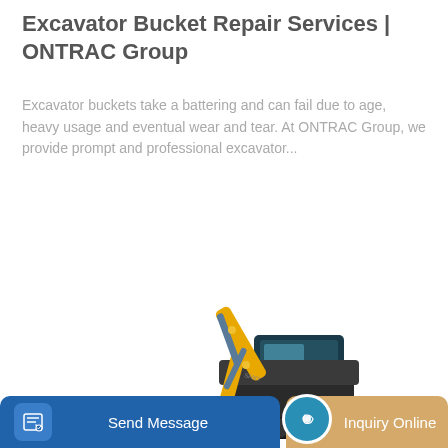Excavator Bucket Repair Services | ONTRAC Group
Excavator buckets take a battering and can fail due to age, heavy usage and eventual wear and tear. At ONTRAC Group, we provide prompt and professional excavator...
[Figure (other): Yellow and black excavator machine on white background]
Send Message
Inquiry Online